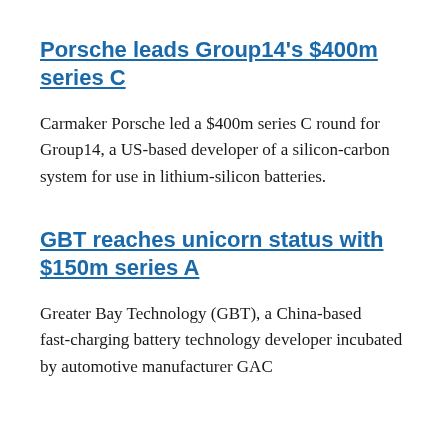Porsche leads Group14's $400m series C
Carmaker Porsche led a $400m series C round for Group14, a US‑based developer of a silicon‑carbon system for use in lithium‑silicon batteries.
GBT reaches unicorn status with $150m series A
Greater Bay Technology (GBT), a China‑based fast‑charging battery technology developer incubated by automotive manufacturer GAC